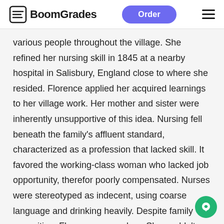BoomGrades | Order
various people throughout the village. She refined her nursing skill in 1845 at a nearby hospital in Salisbury, England close to where she resided. Florence applied her acquired learnings to her village work. Her mother and sister were inherently unsupportive of this idea. Nursing fell beneath the family's affluent standard, characterized as a profession that lacked skill. It favored the working-class woman who lacked job opportunity, therefor poorly compensated. Nurses were stereotyped as indecent, using coarse language and drinking heavily. Despite family opposition, Florence pressed on. She couldn't deny her newly found calling. Florence used her permittance to travel to her